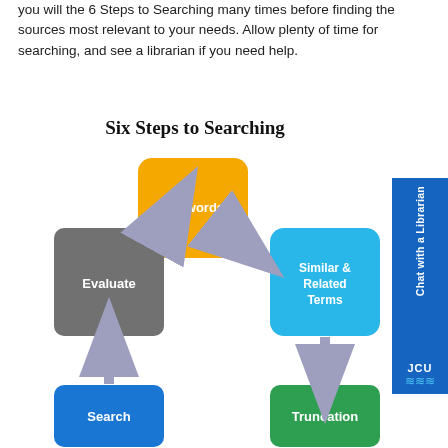you will the 6 Steps to Searching many times before finding the sources most relevant to your needs. Allow plenty of time for searching, and see a librarian if you need help.
[Figure (flowchart): Six Steps to Searching flowchart showing interconnected rounded rectangles: Keywords (yellow, top center), Similar & Related Terms (cyan, right), Truncation (green, bottom right), Search (blue, bottom left), Evaluate (grey, left center), with arrows connecting them in a cycle. Title: Six Steps to Searching.]